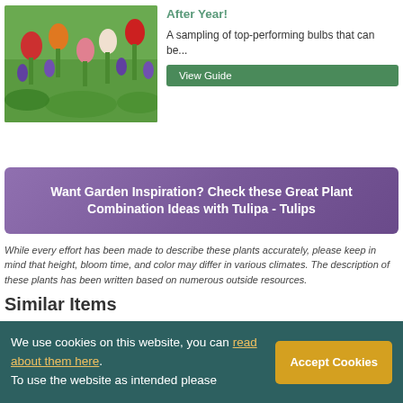[Figure (photo): Colorful tulips and other spring flowers in a garden, including red, orange, pink tulips and purple grape hyacinths against green foliage]
After Year!
A sampling of top-performing bulbs that can be...
View Guide
Want Garden Inspiration? Check these Great Plant Combination Ideas with Tulipa - Tulips
While every effort has been made to describe these plants accurately, please keep in mind that height, bloom time, and color may differ in various climates. The description of these plants has been written based on numerous outside resources.
Similar Items
We use cookies on this website, you can read about them here. To use the website as intended please
Accept Cookies